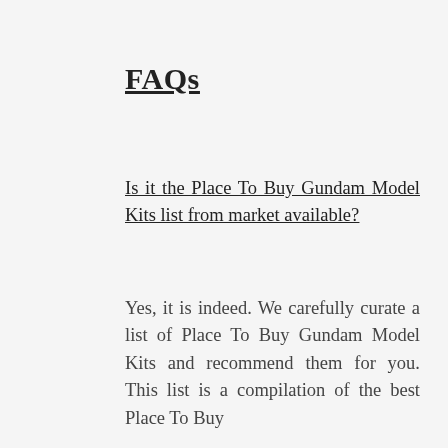FAQs
Is it the Place To Buy Gundam Model Kits list from market available?
Yes, it is indeed. We carefully curate a list of Place To Buy Gundam Model Kits and recommend them for you. This list is a compilation of the best Place To Buy